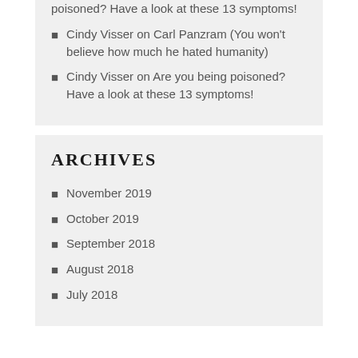poisoned? Have a look at these 13 symptoms!
Cindy Visser on Carl Panzram (You won't believe how much he hated humanity)
Cindy Visser on Are you being poisoned? Have a look at these 13 symptoms!
ARCHIVES
November 2019
October 2019
September 2018
August 2018
July 2018